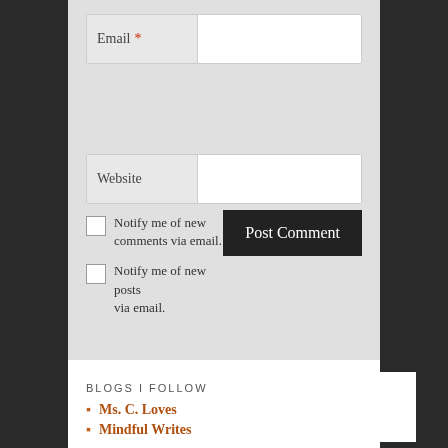[Figure (screenshot): Email input field with red asterisk required marker and light gray label area]
[Figure (screenshot): Website input field with light gray label area]
Notify me of new comments via email.
Notify me of new posts via email.
Post Comment
BLOGS I FOLLOW
Ms. C. Loves
Mindful Writes